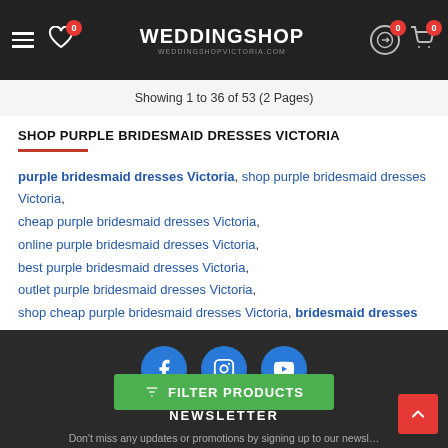WEDDINGSHOP — Navigation header with hamburger, wishlist (0), logo, swap, and cart (0, 0) icons
Showing 1 to 36 of 53 (2 Pages)
SHOP PURPLE BRIDESMAID DRESSES VICTORIA
purple bridesmaid dresses Victoria, shop purple bridesmaid dresses Victoria, cheap purple bridesmaid dresses Victoria, online purple bridesmaid dresses Victoria, best purple bridesmaid dresses Victoria, outlet purple bridesmaid dresses Victoria, shop cheap purple bridesmaid dresses Victoria, bridesmaid dresses Victoria, Cheap Wedding Shops Victoria
Footer with Facebook, Instagram, YouTube social icons and NEWSLETTER heading. Don't miss any updates or promotions by signing up to our newsletter. FILTER PRODUCTS button.